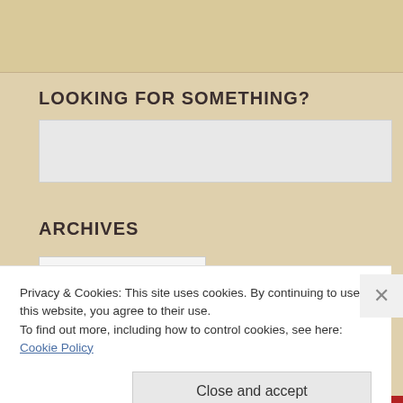LOOKING FOR SOMETHING?
[Figure (screenshot): Search input box with placeholder text 'Search ...']
ARCHIVES
Privacy & Cookies: This site uses cookies. By continuing to use this website, you agree to their use.
To find out more, including how to control cookies, see here: Cookie Policy
Close and accept